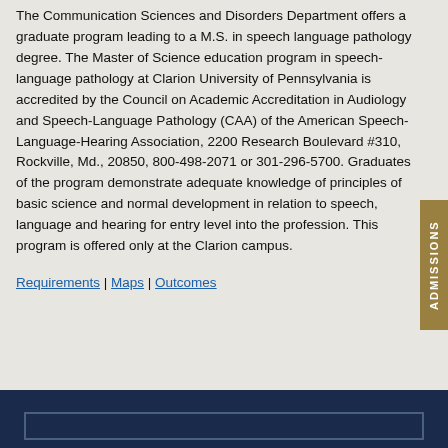The Communication Sciences and Disorders Department offers a graduate program leading to a M.S. in speech language pathology degree. The Master of Science education program in speech-language pathology at Clarion University of Pennsylvania is accredited by the Council on Academic Accreditation in Audiology and Speech-Language Pathology (CAA) of the American Speech-Language-Hearing Association, 2200 Research Boulevard #310, Rockville, Md., 20850, 800-498-2071 or 301-296-5700. Graduates of the program demonstrate adequate knowledge of principles of basic science and normal development in relation to speech, language and hearing for entry level into the profession. This program is offered only at the Clarion campus.
Requirements | Maps | Outcomes